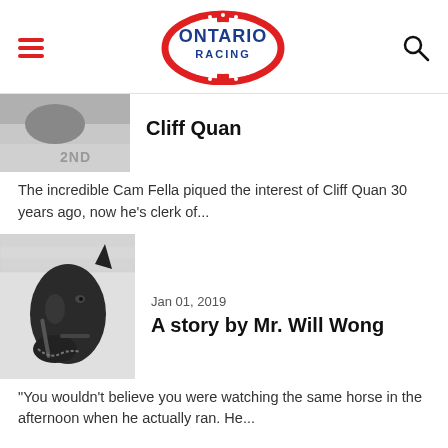Ontario Racing - navigation header
[Figure (photo): Grayscale partial photo cropped at top of first article card]
Cliff Quan
The incredible Cam Fella piqued the interest of Cliff Quan 30 years ago, now he's clerk of...
[Figure (photo): Black and white close-up photo of a horse wearing a bridle]
Jan 01, 2019
A story by Mr. Will Wong
"You wouldn't believe you were watching the same horse in the afternoon when he actually ran. He...